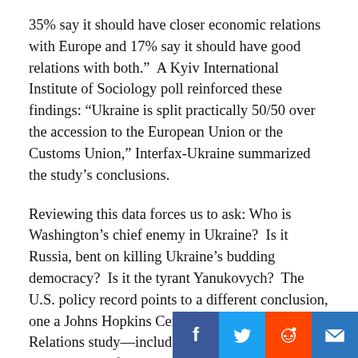35% say it should have closer economic relations with Europe and 17% say it should have good relations with both.”  A Kyiv International Institute of Sociology poll reinforced these findings: “Ukraine is split practically 50/50 over the accession to the European Union or the Customs Union,” Interfax-Ukraine summarized the study’s conclusions.
Reviewing this data forces us to ask: Who is Washington’s chief enemy in Ukraine?  Is it Russia, bent on killing Ukraine’s budding democracy?  Is it the tyrant Yanukovych?  The U.S. policy record points to a different conclusion, one a Johns Hopkins Center for Transatlantic Relations study—included in the official transcription of the Senate’s 2012 “Ukraine at a Crossroads” hearing—discusses in the context of Ukraine’s potential NATO membership.  “The main obstacle” to Ukraine’s joining the organization “is not Russian opposition,” its authors emphasized, “low public support for membership in Ukraine itself.”
[Figure (other): Social media sharing buttons: Facebook, Twitter, Reddit, Email]